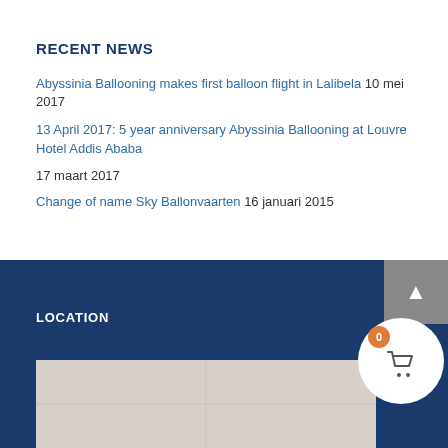RECENT NEWS
Abyssinia Ballooning makes first balloon flight in Lalibela 10 mei 2017
13 April 2017: 5 year anniversary Abyssinia Ballooning at Louvre Hotel Addis Ababa
17 maart 2017
Change of name Sky Ballonvaarten 16 januari 2015
LOCATION